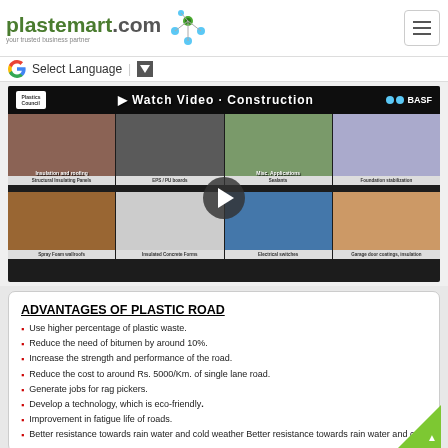plastemart.com — your trusted business partner
Select Language
[Figure (screenshot): Video thumbnail showing plastics in construction applications including insulation, roofing, structural insulating panels, EPS/PU boards, sealants, foundation stabilization, spray foam wallroofs, insulated concrete forms, electrical switches, garage door coatings/insulation. Watch Video overlay with play button.]
ADVANTAGES OF PLASTIC ROAD
Use higher percentage of plastic waste.
Reduce the need of bitumen by around 10%.
Increase the strength and performance of the road.
Reduce the cost to around Rs. 5000/Km. of single lane road.
Generate jobs for rag pickers.
Develop a technology, which is eco-friendly.
Improvement in fatigue life of roads.
Better resistance towards rain water and cold weather Better resistance towards rain water and cold